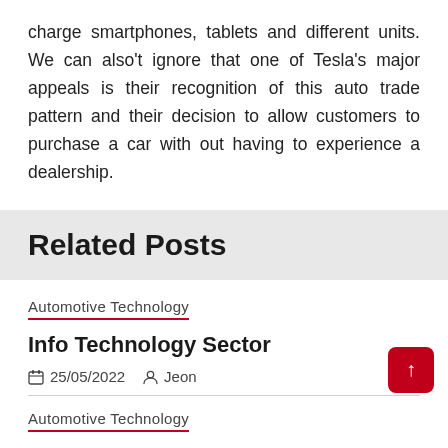charge smartphones, tablets and different units. We can also't ignore that one of Tesla's major appeals is their recognition of this auto trade pattern and their decision to allow customers to purchase a car with out having to experience a dealership.
Related Posts
Automotive Technology
Info Technology Sector
25/05/2022  Jeon
Automotive Technology